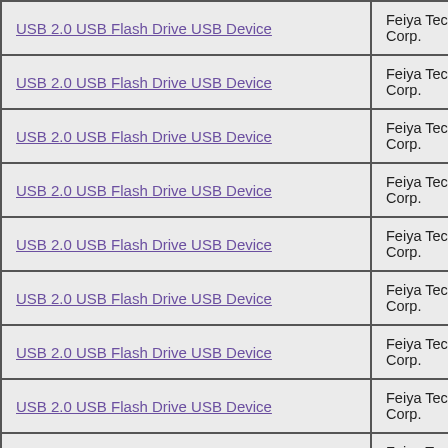| Device Name | Manufacturer |
| --- | --- |
| USB 2.0 USB Flash Drive USB Device | Feiya Technology Corp. |
| USB 2.0 USB Flash Drive USB Device | Feiya Technology Corp. |
| USB 2.0 USB Flash Drive USB Device | Feiya Technology Corp. |
| USB 2.0 USB Flash Drive USB Device | Feiya Technology Corp. |
| USB 2.0 USB Flash Drive USB Device | Feiya Technology Corp. |
| USB 2.0 USB Flash Drive USB Device | Feiya Technology Corp. |
| USB 2.0 USB Flash Drive USB Device | Feiya Technology Corp. |
| USB 2.0 USB Flash Drive USB Device | Feiya Technology Corp. |
| USB 2.0 USB Flash Drive USB Device | Feiya Technology Corp. |
| USB 2.0 USB Flash Drive USB Device | Feiya Technology Corp. |
| USB 2.0 USB Flash Drive USB Device | Feiya Technology Corp. |